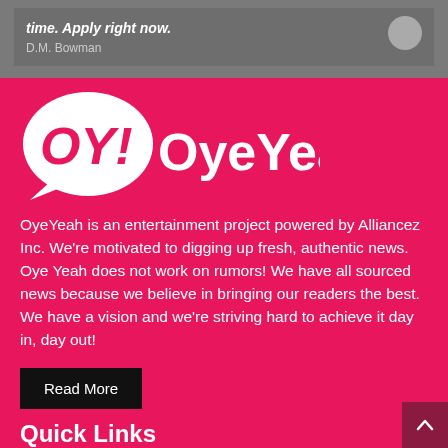[Figure (other): Gray advertisement banner with italic bold text 'time. Apply right now.' and author name 'D.M. Bowman' and a gray circle button]
[Figure (logo): OyeYeah logo — speech bubble with OY! inside and OyeYeah! text beside it, white on pink background]
OyeYeah is an entertainment project powered by Alliancez Inc. We're motivated to digging up fresh, authentic news. Oye Yeah does not work on rumors! We have all sourced news because we believe in bringing our readers the best. We have a vision and we're striving hard to achieve it day in, day out!
Read More
Quick Links